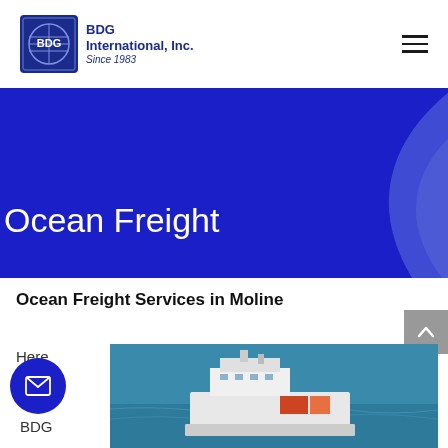[Figure (logo): BDG International, Inc. logo with globe icon and text 'BDG International, Inc. Since 1983']
[Figure (illustration): Hamburger menu icon (three horizontal lines) in top right corner]
[Figure (illustration): Dark blue hero banner with decorative curved arc and 'Ocean Freight' title text]
Ocean Freight
Ocean Freight Services in Moline
[Figure (illustration): Gray scroll-to-top button with upward chevron]
Here
[Figure (illustration): Dark blue circular mail/envelope button]
BDG
[Figure (photo): Photograph of a cargo/freight ship on blue ocean water]